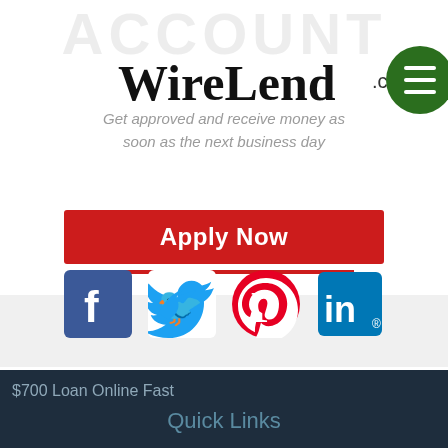ACCOUNT
[Figure (logo): WireLend.com logo with green and yellow arrows]
Get approved and receive money as soon as the next business day
[Figure (other): Red Apply Now button]
[Figure (other): Social media icons: Facebook, Twitter, Pinterest, LinkedIn]
$700 Loan Online Fast
Quick Links